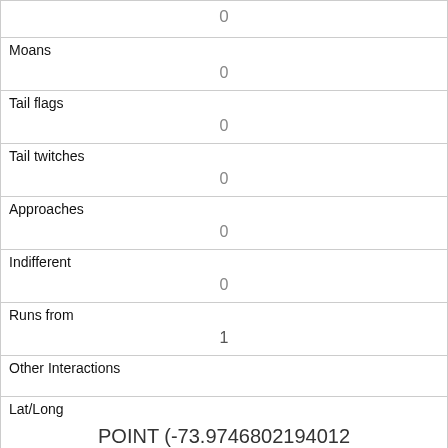| 0 |
| Moans | 0 |
| Tail flags | 0 |
| Tail twitches | 0 |
| Approaches | 0 |
| Indifferent | 0 |
| Runs from | 1 |
| Other Interactions |  |
| Lat/Long | POINT (-73.9746802194012 40.7731347452245) |
| Link | 564 |
| rowid |  |